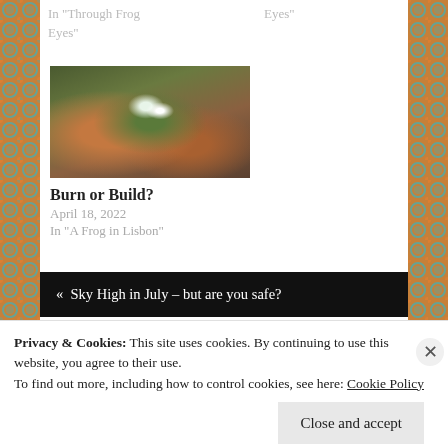In "Through Frog Eyes"
Eyes"
[Figure (photo): Close-up photo of a white flower with green leaves on a branch, blurred brown and orange background]
Burn or Build?
April 18, 2022
In "A Frog in Lisbon"
« Sky High in July – but are you safe?
Privacy & Cookies: This site uses cookies. By continuing to use this website, you agree to their use.
To find out more, including how to control cookies, see here: Cookie Policy
Close and accept